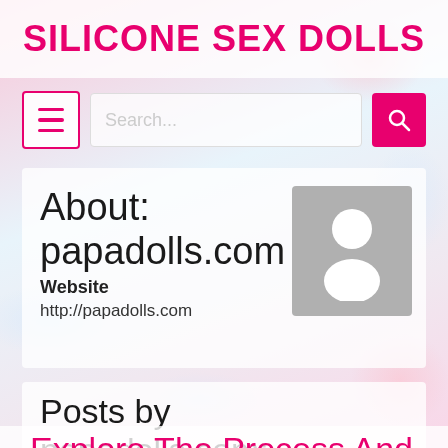SILICONE SEX DOLLS
[Figure (screenshot): Search bar with hamburger menu button and pink search button]
About: papadolls.com
Website
http://papadolls.com
Posts by papadolls.com:
Explore The Process And